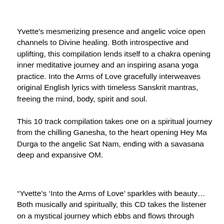Yvette's mesmerizing presence and angelic voice open channels to Divine healing. Both introspective and uplifting, this compilation lends itself to a chakra opening inner meditative journey and an inspiring asana yoga practice. Into the Arms of Love gracefully interweaves original English lyrics with timeless Sanskrit mantras, freeing the mind, body, spirit and soul.
This 10 track compilation takes one on a spiritual journey from the chilling Ganesha, to the heart opening Hey Ma Durga to the angelic Sat Nam, ending with a savasana deep and expansive OM.
“Yvette’s ‘Into the Arms of Love’ sparkles with beauty…Both musically and spiritually, this CD takes the listener on a mystical journey which ebbs and flows through cascades of devotional